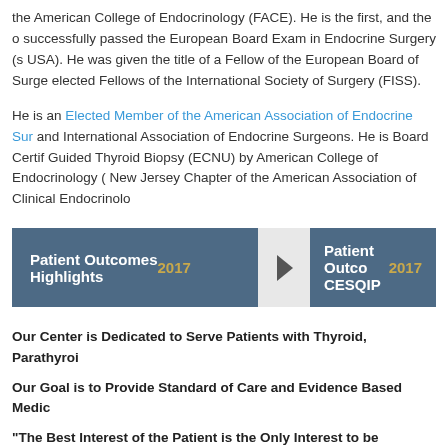the American College of Endocrinology (FACE). He is the first, and the only surgeon who successfully passed the European Board Exam in Endocrine Surgery (s USA). He was given the title of a Fellow of the European Board of Surge elected Fellows of the International Society of Surgery (FISS).
He is an Elected Member of the American Association of Endocrine Sur and International Association of Endocrine Surgeons. He is Board Certif Guided Thyroid Biopsy (ECNU) by American College of Endocrinology New Jersey Chapter of the American Association of Clinical Endocrinolo
[Figure (other): Two banners: 'Patient Outcomes Highlights 2017' and 'Patient Outco CESQIP 2017' with a play button arrow between them]
Our Center is Dedicated to Serve Patients with Thyroid, Parathyroi
Our Goal is to Provide Standard of Care and Evidence Based Medic
"The Best Interest of the Patient is the Only Interest to be Considen
Now Available – "Thyroid Encyclopedia" by Alexand Krasnova FNP, published by Balboa Press 4/2022